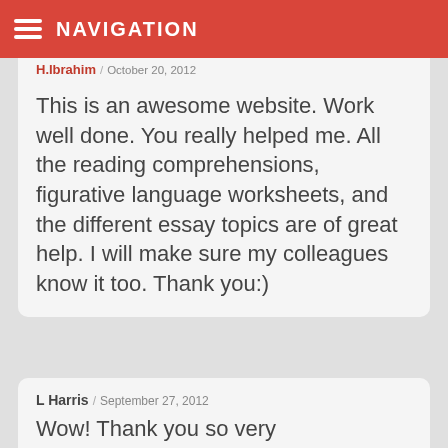NAVIGATION
H.Ibrahim / October 20, 2012
This is an awesome website. Work well done. You really helped me. All the reading comprehensions, figurative language worksheets, and the different essay topics are of great help. I will make sure my colleagues know it too. Thank you:)
L Harris / September 27, 2012
Wow! Thank you so very